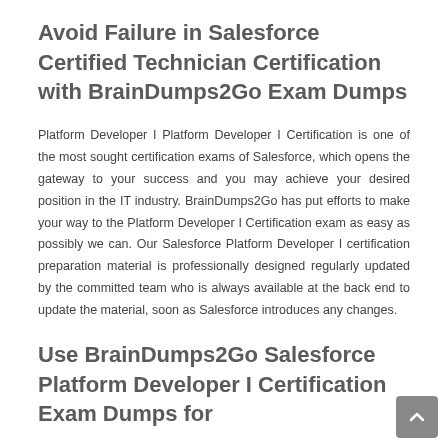Avoid Failure in Salesforce Certified Technician Certification with BrainDumps2Go Exam Dumps
Platform Developer I Platform Developer I Certification is one of the most sought certification exams of Salesforce, which opens the gateway to your success and you may achieve your desired position in the IT industry. BrainDumps2Go has put efforts to make your way to the Platform Developer I Certification exam as easy as possibly we can. Our Salesforce Platform Developer I certification preparation material is professionally designed regularly updated by the committed team who is always available at the back end to update the material, soon as Salesforce introduces any changes.
Use BrainDumps2Go Salesforce Platform Developer I Certification Exam Dumps for